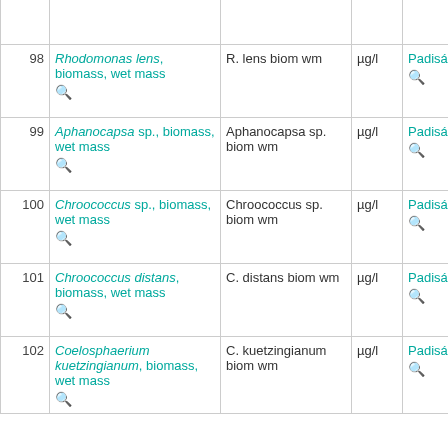| # | Name | Abbreviation | Unit | Author |  |
| --- | --- | --- | --- | --- | --- |
| 98 | Rhodomonas lens, biomass, wet mass | R. lens biom wm | µg/l | Padisák, Judit |  |
| 99 | Aphanocapsa sp., biomass, wet mass | Aphanocapsa sp. biom wm | µg/l | Padisák, Judit |  |
| 100 | Chroococcus sp., biomass, wet mass | Chroococcus sp. biom wm | µg/l | Padisák, Judit |  |
| 101 | Chroococcus distans, biomass, wet mass | C. distans biom wm | µg/l | Padisák, Judit |  |
| 102 | Coelosphaerium kuetzingianum, biomass, wet mass | C. kuetzingianum biom wm | µg/l | Padisák, Judit |  |